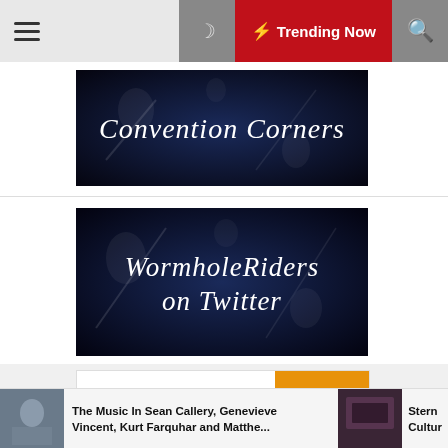☰  🌙  ⚡ Trending Now  🔍
[Figure (screenshot): Convention Corners banner — dark blue background with white italic serif text reading 'Convention Corners']
[Figure (screenshot): WormholeRiders on Twitter banner — dark background with white italic serif text reading 'WormholeRiders on Twitter']
Search ...
Search
The Music In Sean Callery, Genevieve Vincent, Kurt Farquhar and Matthe...
Stern  Cultur